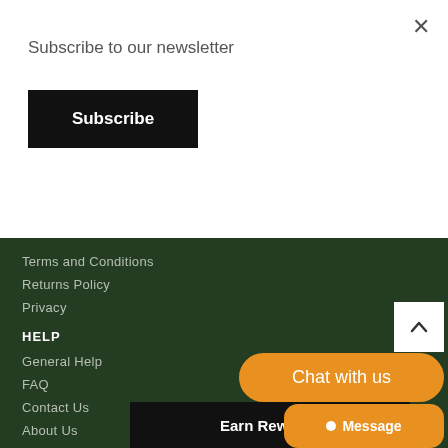×
Subscribe to our newsletter
Subscribe
Terms and Conditions
Returns Policy
Privacy
HELP
General Help
FAQ
Contact Us
About Us
STAY CONNECTED
[Figure (other): Social media icons: Facebook, and others, YouTube]
Earn Rewards
Chat with us
Message